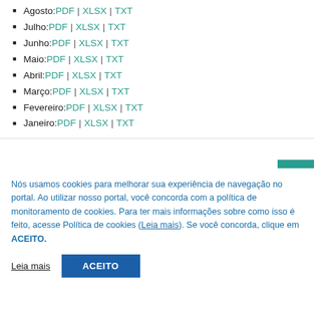Agosto: PDF | XLSX | TXT
Julho: PDF | XLSX | TXT
Junho: PDF | XLSX | TXT
Maio: PDF | XLSX | TXT
Abril: PDF | XLSX | TXT
Março: PDF | XLSX | TXT
Fevereiro: PDF | XLSX | TXT
Janeiro: PDF | XLSX | TXT
Nós usamos cookies para melhorar sua experiência de navegação no portal. Ao utilizar nosso portal, você concorda com a política de monitoramento de cookies. Para ter mais informações sobre como isso é feito, acesse Política de cookies (Leia mais). Se você concorda, clique em ACEITO.
Leia mais | ACEITO